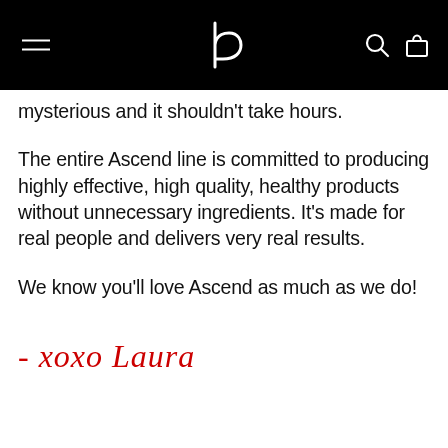b [logo] [menu icon] [search icon] [bag icon]
mysterious and it shouldn't take hours.
The entire Ascend line is committed to producing highly effective, high quality, healthy products without unnecessary ingredients. It's made for real people and delivers very real results.
We know you'll love Ascend as much as we do!
- xoxo Laura